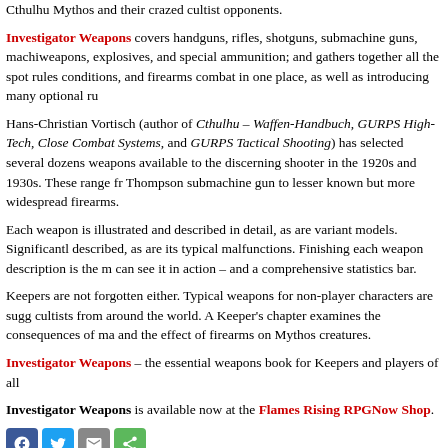Cthulhu Mythos and their crazed cultist opponents.
Investigator Weapons covers handguns, rifles, shotguns, submachine guns, machine weapons, explosives, and special ammunition; and gathers together all the spot rules conditions, and firearms combat in one place, as well as introducing many optional ru
Hans-Christian Vortisch (author of Cthulhu – Waffen-Handbuch, GURPS High-Tech, Close Combat Systems, and GURPS Tactical Shooting) has selected several dozens weapons available to the discerning shooter in the 1920s and 1930s. These range fr Thompson submachine gun to lesser known but more widespread firearms.
Each weapon is illustrated and described in detail, as are variant models. Significantly described, as are its typical malfunctions. Finishing each weapon description is the m can see it in action – and a comprehensive statistics bar.
Keepers are not forgotten either. Typical weapons for non-player characters are sugg cultists from around the world. A Keeper's chapter examines the consequences of ma and the effect of firearms on Mythos creatures.
Investigator Weapons – the essential weapons book for Keepers and players of all
Investigator Weapons is available now at the Flames Rising RPGNow Shop.
[Figure (other): Social media sharing icons: Facebook, Twitter, Email, Share]
No related posts.